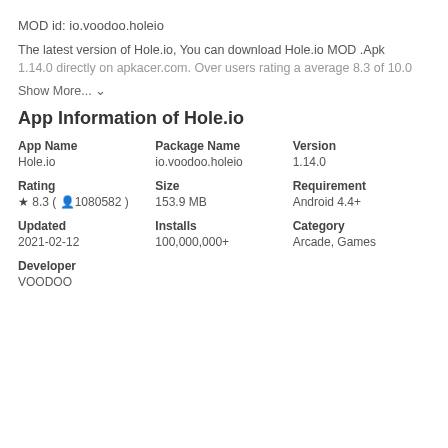MOD id: io.voodoo.holeio
The latest version of Hole.io, You can download Hole.io MOD .Apk 1.14.0 directly on apkacer.com. Over users rating a average 8.3 of 10.0
Show More... ∨
App Information of Hole.io
| App Name | Package Name | Version |
| --- | --- | --- |
| Hole.io | io.voodoo.holeio | 1.14.0 |
| Rating | Size | Requirement |
| ★ 8.3 ( 👤 1080582 ) | 153.9 MB | Android 4.4+ |
| Updated | Installs | Category |
| 2021-02-12 | 100,000,000+ | Arcade, Games |
| Developer |  |  |
| VOODOO |  |  |